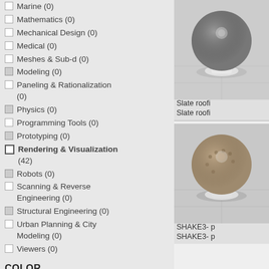Marine (0)
Mathematics (0)
Mechanical Design (0)
Medical (0)
Meshes & Sub-d (0)
Modeling (0)
Paneling & Rationalization (0)
Physics (0)
Programming Tools (0)
Prototyping (0)
Rendering & Visualization (42)
Robots (0)
Scanning & Reverse Engineering (0)
Structural Engineering (0)
Urban Planning & City Modeling (0)
Viewers (0)
COLOR
[Figure (photo): 3D render of a grey/dark sphere material ball on a white base - Slate roof material preview]
Slate roof
Slate roof
[Figure (photo): 3D render of a knitted/fabric textured sphere material ball on a white base - SHAKE3 material preview]
SHAKE3- p
SHAKE3- p